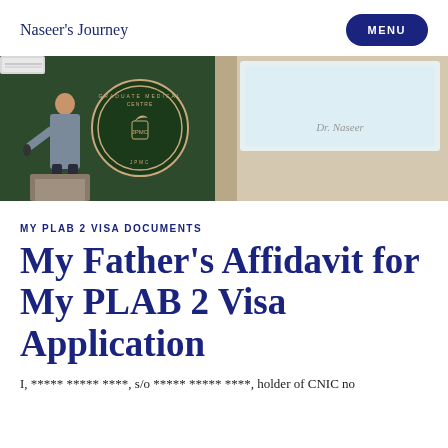Naseer's Journey
[Figure (photo): A doctor presenting at a medical centre with a JPMC Graduate Medical Centre logo banner visible on the left and a projection screen on the right showing 'Dr. Naseer']
MY PLAB 2 VISA DOCUMENTS
My Father's Affidavit for My PLAB 2 Visa Application
I, ***** ***** ****, s/o ***** ***** ****, holder of CNIC no